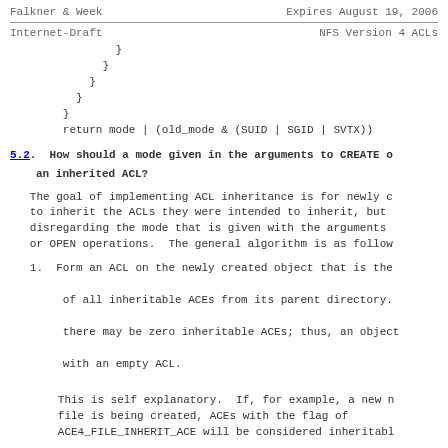Falkner & Week                    Expires August 19, 2006
Internet-Draft                    NFS Version 4 ACLs
}
          }
        }
      }
    }
    return mode | (old_mode & (SUID | SGID | SVTX))
5.2.  How should a mode given in the arguments to CREATE or OPEN interact with an inherited ACL?
The goal of implementing ACL inheritance is for newly created objects to inherit the ACLs they were intended to inherit, but disregarding the mode that is given with the arguments to the CREATE or OPEN operations.  The general algorithm is as follows:
1.  Form an ACL on the newly created object that is the collection of all inheritable ACEs from its parent directory.  Note that there may be zero inheritable ACEs; thus, an object may be created with an empty ACL.

    This is self explanatory.  If, for example, a new non-directory file is being created, ACEs with the flag of ACE4_FILE_INHERIT_ACE will be considered inheritable.